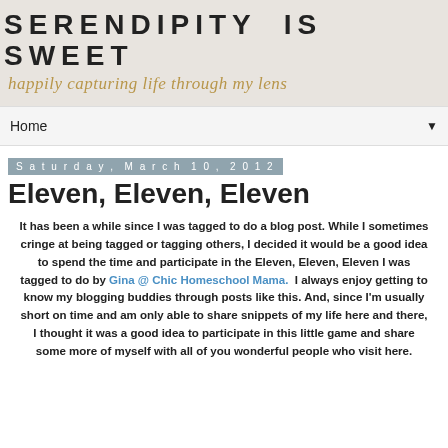SERENDIPITY IS SWEET
happily capturing life through my lens
Home ▼
Saturday, March 10, 2012
Eleven, Eleven, Eleven
It has been a while since I was tagged to do a blog post. While I sometimes cringe at being tagged or tagging others, I decided it would be a good idea to spend the time and participate in the Eleven, Eleven, Eleven I was tagged to do by Gina @ Chic Homeschool Mama.  I always enjoy getting to know my blogging buddies through posts like this. And, since I'm usually short on time and am only able to share snippets of my life here and there, I thought it was a good idea to participate in this little game and share some more of myself with all of you wonderful people who visit here.